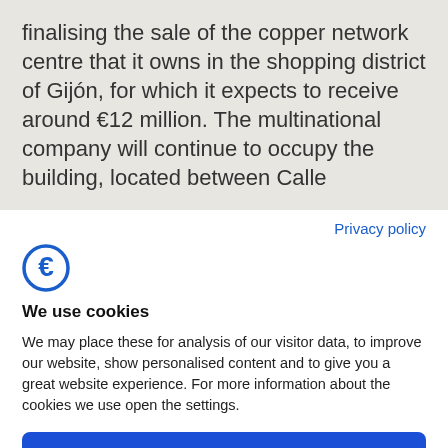finalising the sale of the copper network centre that it owns in the shopping district of Gijón, for which it expects to receive around €12 million. The multinational company will continue to occupy the building, located between Calle
Privacy policy
[Figure (logo): Blue stylized F/euro-style logo icon]
We use cookies
We may place these for analysis of our visitor data, to improve our website, show personalised content and to give you a great website experience. For more information about the cookies we use open the settings.
Accept all
Deny
No, adjust